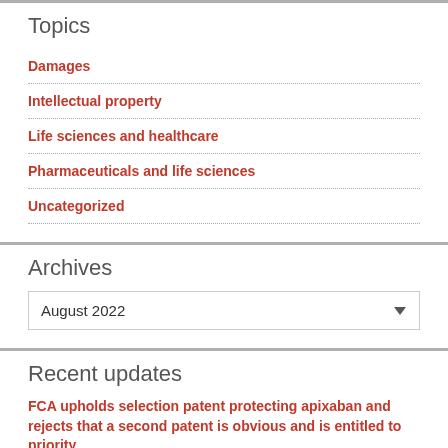Topics
Damages
Intellectual property
Life sciences and healthcare
Pharmaceuticals and life sciences
Uncategorized
Archives
August 2022
Recent updates
FCA upholds selection patent protecting apixaban and rejects that a second patent is obvious and is entitled to priority